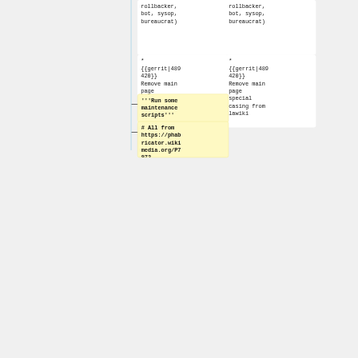rollbacker, bot, sysop, bureaucrat)
rollbacker, bot, sysop, bureaucrat)
* {{gerrit|489420}} Remove main page special casing from lawiki
* {{gerrit|489420}} Remove main page special casing from lawiki
'''Run some maintenance scripts'''
# All from https://phabricator.wikimedia.org/P7972 {{phab|T212...